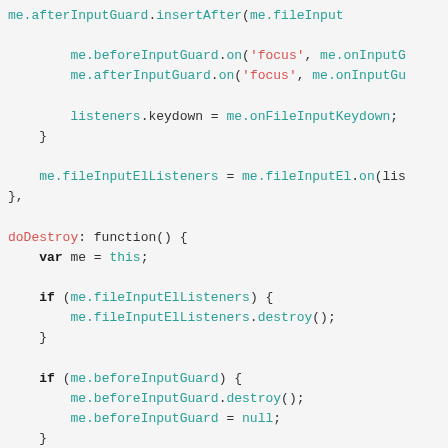[Figure (screenshot): JavaScript source code snippet showing afterInputGuard, beforeInputGuard event bindings, listeners.keydown assignment, fileInputElListeners, doDestroy function with destroy/null cleanup for fileInputElListeners, beforeInputGuard, and the beginning of afterInputGuard checks.]